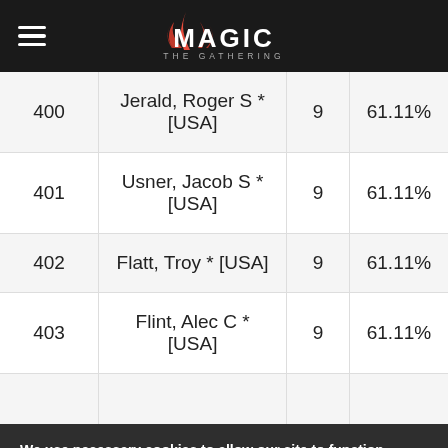Magic: The Gathering navigation bar with logo
| Rank | Name | Points | OMW% |
| --- | --- | --- | --- |
| 400 | Jerald, Roger S * [USA] | 9 | 61.11% |
| 401 | Usner, Jacob S * [USA] | 9 | 61.11% |
| 402 | Flatt, Troy * [USA] | 9 | 61.11% |
| 403 | Flint, Alec C * [USA] | 9 | 61.11% |
We use necessary cookies to allow our site to function correctly and collect anonymous session data. Necessary cookies can be opted out through your browser settings. We also use optional cookies to personalize content and ads, provide social medial features and analyze web traffic. By clicking "OK, I agree," you consent to optional cookies. (Learn more about cookies.)